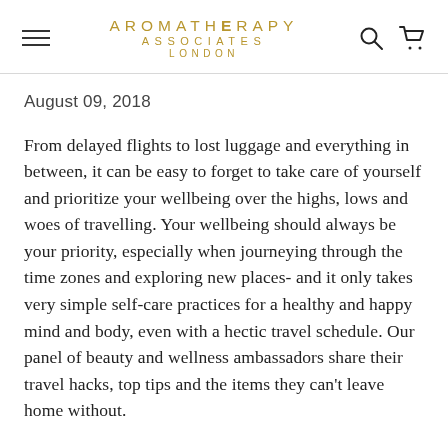AROMATHERAPY ASSOCIATES LONDON
August 09, 2018
From delayed flights to lost luggage and everything in between, it can be easy to forget to take care of yourself and prioritize your wellbeing over the highs, lows and woes of travelling. Your wellbeing should always be your priority, especially when journeying through the time zones and exploring new places- and it only takes very simple self-care practices for a healthy and happy mind and body, even with a hectic travel schedule. Our panel of beauty and wellness ambassadors share their travel hacks, top tips and the items they can't leave home without.